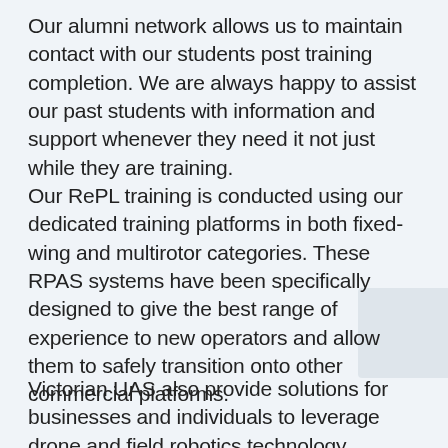Our alumni network allows us to maintain contact with our students post training completion. We are always happy to assist our past students with information and support whenever they need it not just while they are training. Our RePL training is conducted using our dedicated training platforms in both fixed-wing and multirotor categories. These RPAS systems have been specifically designed to give the best range of experience to new operators and allow them to safely transition onto other commercial platforms.
Victorian UAS also provide solutions for businesses and individuals to leverage drone and field robotics technology through a range of consulting and commercial services. These range from proof of concept and technique development, for new